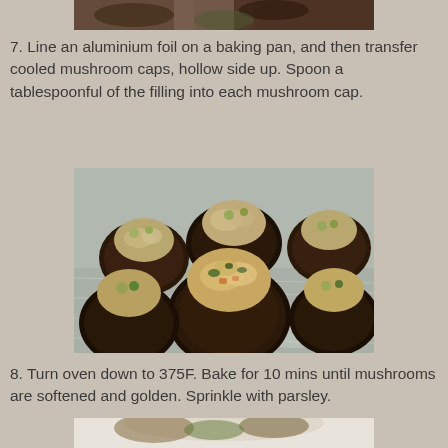[Figure (photo): Top portion of a food photo showing stuffed mushrooms, partially cropped at top of page]
7. Line an aluminium foil on a baking pan, and then transfer cooled mushroom caps, hollow side up. Spoon a tablespoonful of the filling into each mushroom cap.
[Figure (photo): Photo of stuffed mushrooms filled with a savory filling on aluminium foil on a baking pan]
8. Turn oven down to 375F. Bake for 10 mins until mushrooms are softened and golden. Sprinkle with parsley.
[Figure (photo): Bottom portion of a food photo showing finished stuffed mushrooms on a plate, partially cropped at bottom of page]